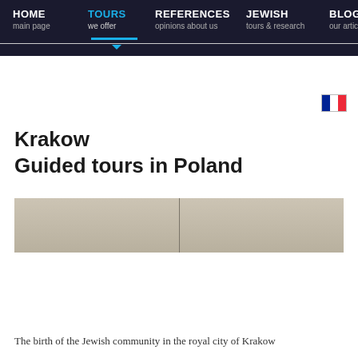HOME main page | TOURS we offer | REFERENCES opinions about us | JEWISH tours & research | BLOG our articles
[Figure (screenshot): French flag icon in upper right of page]
Krakow
Guided tours in Poland
[Figure (photo): Partially visible hero image with beige/tan background and a thin vertical line near center]
The birth of the Jewish community in the royal city of Krakow